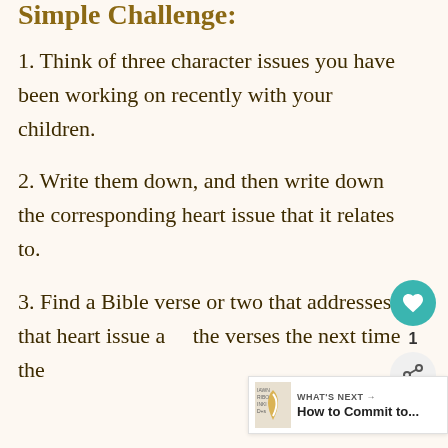Simple Challenge:
1. Think of three character issues you have been working on recently with your children.
2. Write them down, and then write down the corresponding heart issue that it relates to.
3. Find a Bible verse or two that addresses that heart issue and the verses the next time the